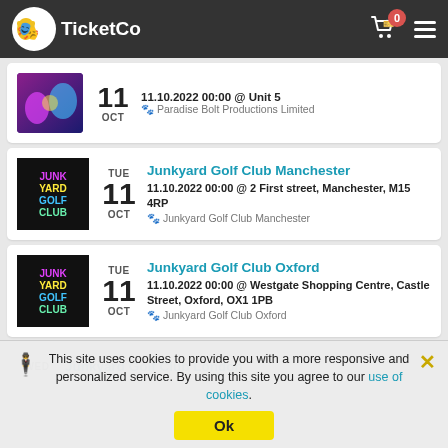TicketCo — navigation header with cart (0) and menu
[Figure (screenshot): Partially visible event card: date 11 OCT, title cut off, 11.10.2022 00:00 @ Unit 5, Paradise Bolt Productions Limited]
TUE 11 OCT — Junkyard Golf Club Manchester — 11.10.2022 00:00 @ 2 First street, Manchester, M15 4RP — Junkyard Golf Club Manchester
TUE 11 OCT — Junkyard Golf Club Oxford — 11.10.2022 00:00 @ Westgate Shopping Centre, Castle Street, Oxford, OX1 1PB — Junkyard Golf Club Oxford
WED — Junkyard Golf Club London (partially visible)
This site uses cookies to provide you with a more responsive and personalized service. By using this site you agree to our use of cookies.
Ok